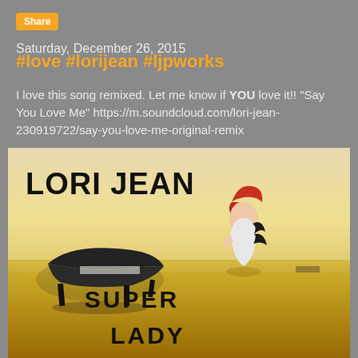Share
Saturday, December 26, 2015
#love #lorijean #ljpworks
I love this song remixed. Let me know if YOU love it!! "Say You Love Me" https://m.soundcloud.com/lori-jean-230919722/say-you-love-me-original-remix
[Figure (photo): Album cover for Lori Jean 'Super Lady' showing a woman with red hair in a field with a grand piano, text reads LORI JEAN SUPER LADY]